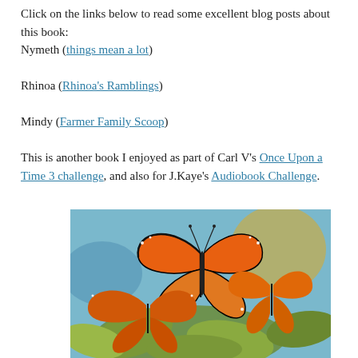Click on the links below to read some excellent blog posts about this book:
Nymeth (things mean a lot)

Rhinoa (Rhinoa's Ramblings)

Mindy (Farmer Family Scoop)

This is another book I enjoyed as part of Carl V's Once Upon a Time 3 challenge, and also for J.Kaye's Audiobook Challenge.
[Figure (photo): Photo of several monarch butterflies with orange, black and white wings clustered together on green leaves, with a blurred blue background.]